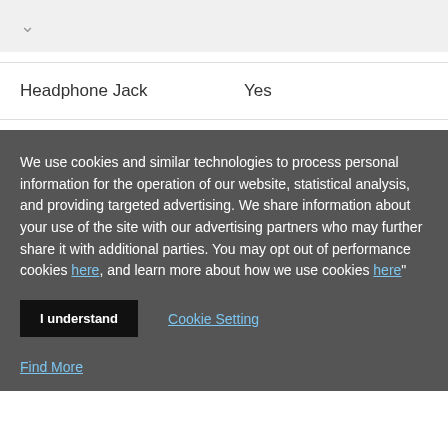[Figure (other): Chevron/dropdown arrow icon in gray on a light gray bar]
| Headphone Jack | Yes |
We use cookies and similar technologies to process personal information for the operation of our website, statistical analysis, and providing targeted advertising. We share information about your use of the site with our advertising partners who may further share it with additional parties. You may opt out of performance cookies here, and learn more about how we use cookies here"
I understand
Cookie Setting
Find More